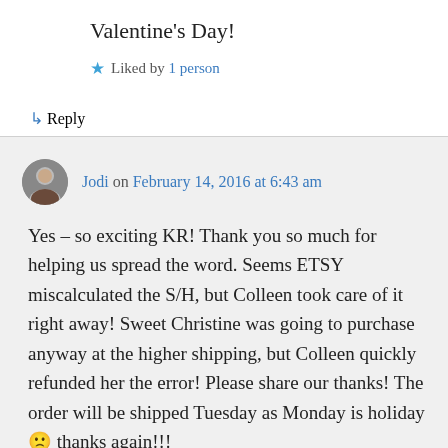Valentine's Day!
★ Liked by 1 person
↳ Reply
Jodi on February 14, 2016 at 6:43 am
Yes – so exciting KR! Thank you so much for helping us spread the word. Seems ETSY miscalculated the S/H, but Colleen took care of it right away! Sweet Christine was going to purchase anyway at the higher shipping, but Colleen quickly refunded her the error! Please share our thanks! The order will be shipped Tuesday as Monday is holiday 🙁 thanks again!!!